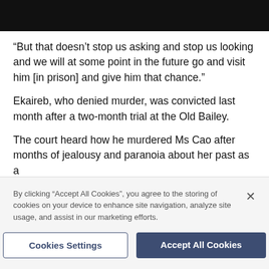[Figure (photo): Black bar at top of page, likely a partially visible image or header graphic]
“But that doesn’t stop us asking and stop us looking and we will at some point in the future go and visit him [in prison] and give him that chance.”
Ekaireb, who denied murder, was convicted last month after a two-month trial at the Old Bailey.
The court heard how he murdered Ms Cao after months of jealousy and paranoia about her past as a
By clicking “Accept All Cookies”, you agree to the storing of cookies on your device to enhance site navigation, analyze site usage, and assist in our marketing efforts.
Cookies Settings
Accept All Cookies